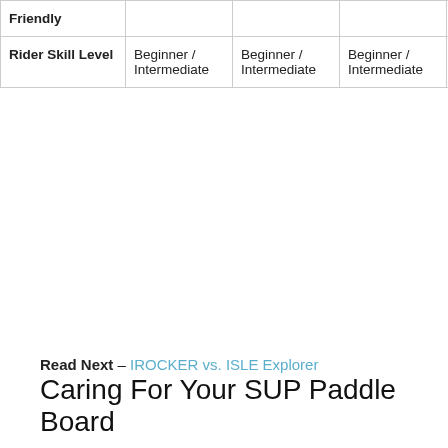| Friendly |  |  |  |  |  |
| Rider Skill
Level | Beginner /
Intermediate | Beginner /
Intermediate | Beginner /
Intermediate | Beginner /
Intermediate | Beg
Inte |
Read Next – IROCKER vs. ISLE Explorer
Caring For Your SUP Paddle Board